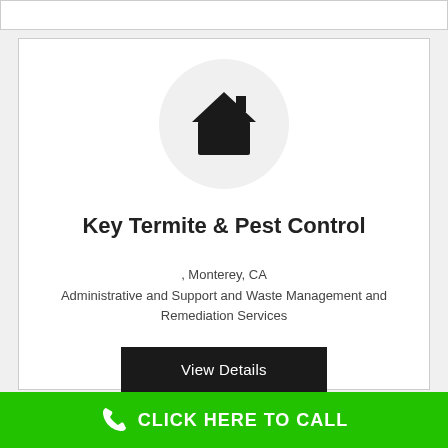[Figure (logo): House/home icon in black inside a light gray circle — logo placeholder for Key Termite & Pest Control]
Key Termite & Pest Control
, Monterey, CA
Administrative and Support and Waste Management and Remediation Services
View Details
CLICK HERE TO CALL